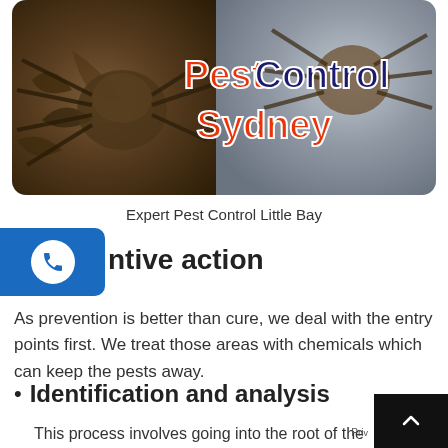[Figure (photo): Hero banner image showing spiders on left (dark brown wood texture) and right (rocky surface), with text 'Pest Control Sydney' overlaid in orange and dark blue bold font on a rounded rectangle background.]
Expert Pest Control Little Bay
ntive action
As prevention is better than cure, we deal with the entry points first. We treat those areas with chemicals which can keep the pests away.
Identification and analysis
This process involves going into the root of the problem to eradicate it completely. We check the nearby p to find out the areas that are serving as the entry